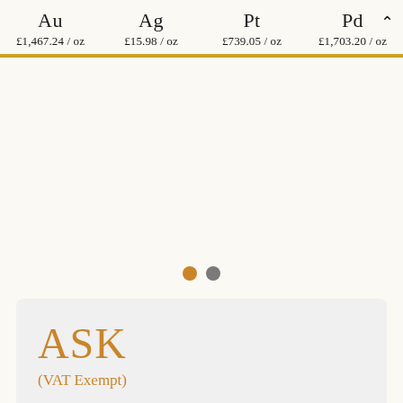Au £1,467.24 / oz   Ag £15.98 / oz   Pt £739.05 / oz   Pd £1,703.20 / oz
[Figure (other): Carousel slide area — blank white/cream content area with two pagination dots (gold and gray) below]
ASK
(VAT Exempt)